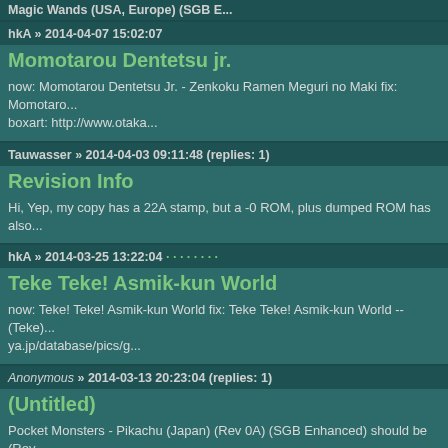Magic Wands (USA, Europe) (SGB E...
hkA » 2014-04-07 15:02:07
Momotarou Dentetsu jr.
now: Momotarou Dentetsu Jr. - Zenkoku Ramen Meguri no Maki fix: Momotaro... boxart: http://www.otaka...
Tauwasser » 2014-04-03 09:11:48 (replies: 1)
Revision Info
Hi, Yep, my copy has a 22A stamp, but a -0 ROM, plus dumped ROM has also...
hkA » 2014-03-25 13:22:04
Teke Teke! Asmik-kun World
now: Teke! Teke! Asmik-kun World fix: Teke Teke! Asmik-kun World -- !!!! (Teke... ya.jp/database/pics/g...
Anonymous » 2014-03-13 20:23:04 (replies: 1)
(Untitled)
Pocket Monsters - Pikachu (Japan) (Rev 0A) (SGB Enhanced) should be (Rev...
Tauwasser » 2014-01-30 20:41:54 (replies: 1)
Asterix & Obelix Region
Maybe region should be "Spain", because of language code on game? AXOP =...
Tauwasser » 2014-01-25 21:09:25
Daffy Duck
The version I dumped is German (NOE label). It seems region Europe would a... parent 0271 (http://datomatic.no-i...